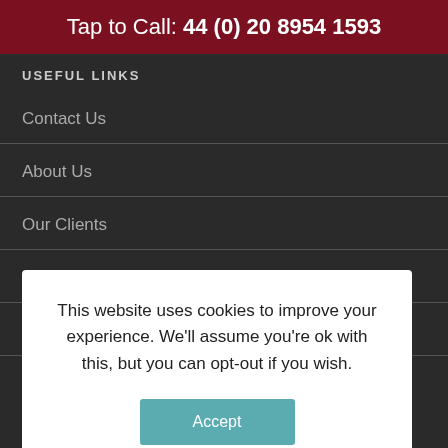Tap to Call: 44 (0) 20 8954 1593
USEFUL LINKS
Contact Us
About Us
Our Clients
This website uses cookies to improve your experience. We'll assume you're ok with this, but you can opt-out if you wish.
Accept
Reject
Services